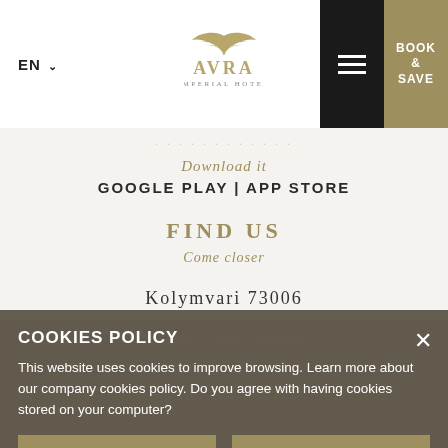EN  ∨
[Figure (logo): AvRa Imperial Hotel logo — stylized wings above the text AVRA in serif capitals, with IMPERIAL HOTEL below in small caps]
Download it
GOOGLE PLAY | APP STORE
FIND US
Come closer
Kolymvari 73006
Chania, Crete, Greece
T +30 28240 84500
F +30 28240 84525
COOKIES POLICY
This website uses cookies to improve browsing. Learn more about our company cookies policy. Do you agree with having cookies stored on your computer?
ACCEPT
DECLINE
CONNECT